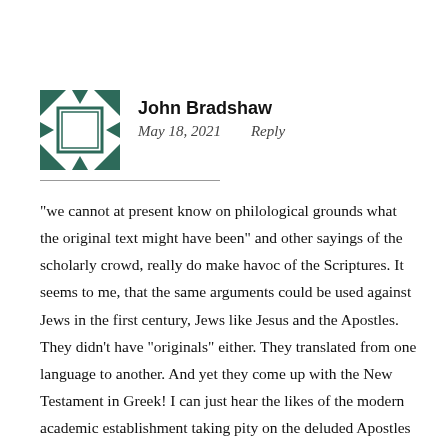John Bradshaw
May 18, 2021   Reply
“we cannot at present know on philological grounds what the original text might have been” and other sayings of the scholarly crowd, really do make havoc of the Scriptures. It seems to me, that the same arguments could be used against Jews in the first century, Jews like Jesus and the Apostles. They didn’t have “originals” either. They translated from one language to another. And yet they come up with the New Testament in Greek! I can just hear the likes of the modern academic establishment taking pity on the deluded Apostles for